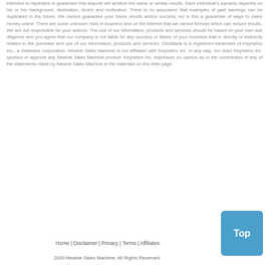intended to represent or guarantee that anyone will achieve the same or similar results. Each individual's success depends on his or her background, dedication, desire and motivation. There is no assurance that examples of past earnings can be duplicated in the future. We cannot guarantee your future results and/or success nor is this a guarantee of ways to make money online. There are some unknown risks in business and on the internet that we cannot foresee which can reduce results. We are not responsible for your actions. The use of our information, products and services should be based on your own due diligence and you agree that our company is not liable for any success or failure of your business that is directly or indirectly related to the purchase and use of our information, products and services. ClickBank is a registered trademark of Keynetics Inc., a Delaware corporation. Newbie Sales Machine is not affiliated with Keynetics Inc. in any way, nor does Keynetics Inc. sponsor or approve any Newbie Sales Machine product. Keynetics Inc. expresses no opinion as to the correctness of any of the statements made by Newbie Sales Machine in the materials on this Web page.
Home | Disclaimer | Privacy | Terms | Affiliates
2020 Newbie Sales Machine. All Rights Reserved.